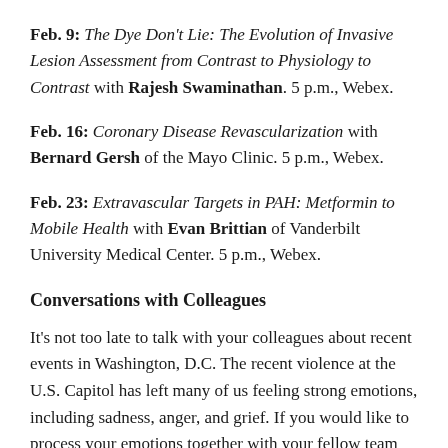Feb. 9: The Dye Don't Lie: The Evolution of Invasive Lesion Assessment from Contrast to Physiology to Contrast with Rajesh Swaminathan. 5 p.m., Webex.
Feb. 16: Coronary Disease Revascularization with Bernard Gersh of the Mayo Clinic. 5 p.m., Webex.
Feb. 23: Extravascular Targets in PAH: Metformin to Mobile Health with Evan Brittian of Vanderbilt University Medical Center. 5 p.m., Webex.
Conversations with Colleagues
It's not too late to talk with your colleagues about recent events in Washington, D.C. The recent violence at the U.S. Capitol has left many of us feeling strong emotions, including sadness, anger, and grief. If you would like to process your emotions together with your fellow team members. Conversations with